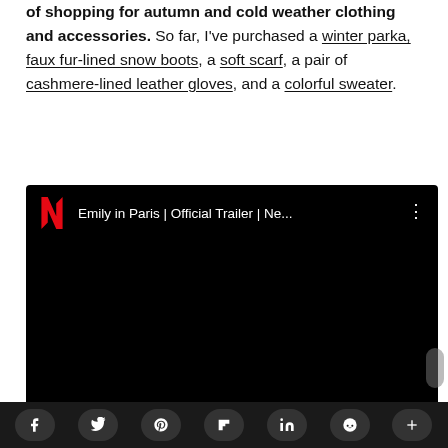of shopping for autumn and cold weather clothing and accessories. So far, I've purchased a winter parka, faux fur-lined snow boots, a soft scarf, a pair of cashmere-lined leather gloves, and a colorful sweater.
[Figure (screenshot): Embedded YouTube-style video player with Netflix logo and title 'Emily in Paris | Official Trailer | Ne...' on black background]
[Figure (screenshot): Social share toolbar with buttons for Facebook, Twitter, Pinterest, Flipboard, LinkedIn, Reddit, and a plus button]